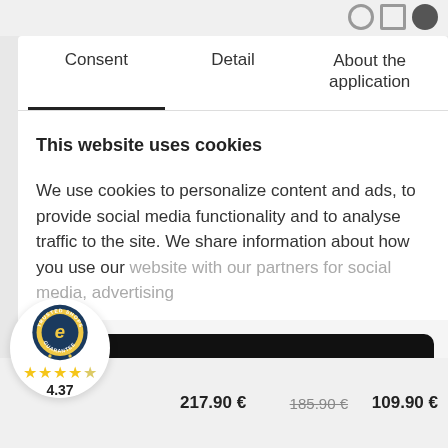Consent | Detail | About the application
This website uses cookies
We use cookies to personalize content and ads, to provide social media functionality and to analyse traffic to the site. We share information about how you use our website with our partners for social media, advertising
ALLOW ALL
EDIT
[Figure (logo): Trusted Shops Guarantee badge with 'e' logo, 4 gold stars and one half star, rating 4.37]
4.37
217.90 €   185.90 € 109.90 €